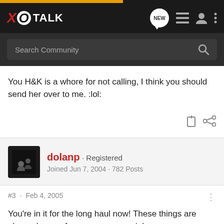XO TALK
You H&K is a whore for not calling, I think you should send her over to me. :lol:
dolanp · Registered
Joined Jun 7, 2004 · 782 Posts
#3 · Feb 4, 2005
You're in it for the long haul now! These things are always hungry for more ammo. :wink: